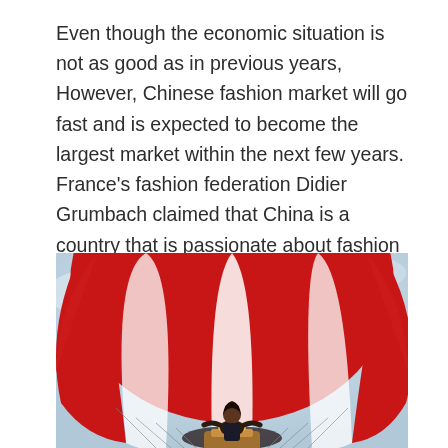Even though the economic situation is not as good as in previous years, However, Chinese fashion market will go fast and is expected to become the largest market within the next few years. France's fashion federation Didier Grumbach claimed that China is a country that is passionate about fashion and aims to become not just a manufacturing powerhouse, but also the country known as a design and innovation center of the world like Apple, Louis Vuitton, etc.
[Figure (photo): A person standing in a hot air balloon basket beneath a large red and white striped balloon, photographed from below against a light blue sky.]